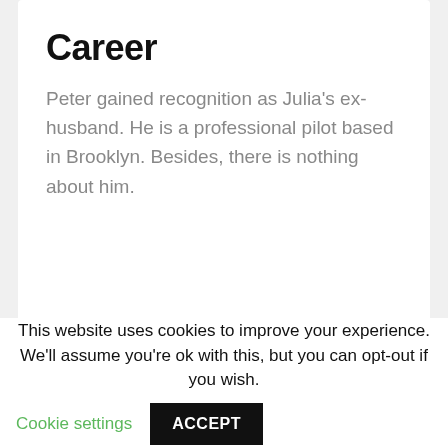Career
Peter gained recognition as Julia's ex-husband. He is a professional pilot based in Brooklyn. Besides, there is nothing about him.
This website uses cookies to improve your experience. We'll assume you're ok with this, but you can opt-out if you wish. Cookie settings ACCEPT